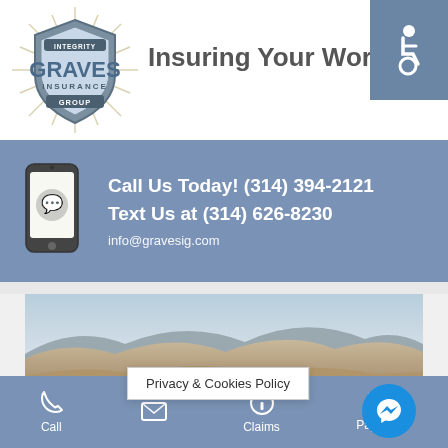[Figure (logo): Graves Insurance Group shield logo with 'INTEGRITY' banner, sunburst rays, and 'GROUP' ribbon]
Insuring Your World
[Figure (illustration): Blue teal square with white wheelchair accessibility symbol]
Call Us Today! (314) 394-2121
Text Us at (314) 626-8230
info@gravesig.com
[Figure (illustration): Phone/chat icon illustration]
[Figure (photo): Aerial landscape panorama of arid hills and green valley farmland]
[Figure (illustration): Facebook Messenger blue circle icon]
Call
Privacy & Cookies Policy
Claims
Payments